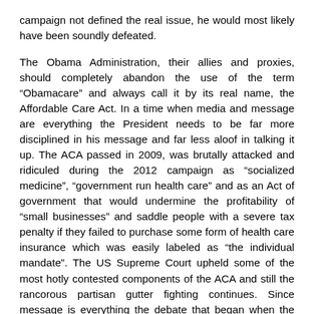campaign not defined the real issue, he would most likely have been soundly defeated.
The Obama Administration, their allies and proxies, should completely abandon the use of the term “Obamacare” and always call it by its real name, the Affordable Care Act. In a time when media and message are everything the President needs to be far more disciplined in his message and far less aloof in talking it up. The ACA passed in 2009, was brutally attacked and ridiculed during the 2012 campaign as “socialized medicine”, “government run health care” and as an Act of government that would undermine the profitability of “small businesses” and saddle people with a severe tax penalty if they failed to purchase some form of health care insurance which was easily labeled as “the individual mandate”. The US Supreme Court upheld some of the most hotly contested components of the ACA and still the rancorous partisan gutter fighting continues. Since message is everything the debate that began when the ACA was winding a serpentine route through Congress every misrepresentation of it and its specific clauses should have been corrected by the Administration.